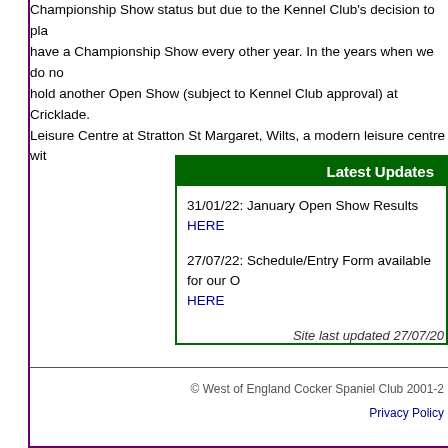Championship Show status but due to the Kennel Club's decision to place have a Championship Show every other year. In the years when we do not hold another Open Show (subject to Kennel Club approval) at Cricklade. Leisure Centre at Stratton St Margaret, Wilts, a modern leisure centre wit
Latest Updates
31/01/22: January Open Show Results HERE
27/07/22: Schedule/Entry Form available for our O HERE
Site last updated 27/07/20
© West of England Cocker Spaniel Club 2001-2
Privacy Policy